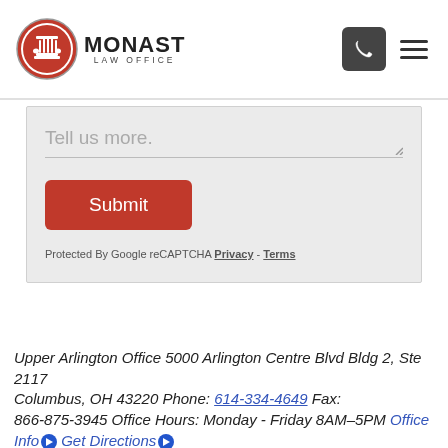[Figure (logo): Monast Law Office logo with red circle containing a column capital icon, and text MONAST LAW OFFICE]
[Figure (other): Phone icon button (dark square with phone symbol) and hamburger menu icon]
Tell us more.
[Figure (other): Submit button - red rounded rectangle with white text 'Submit']
Protected By Google reCAPTCHA Privacy - Terms
Upper Arlington Office 5000 Arlington Centre Blvd Bldg 2, Ste 2117
Columbus, OH 43220 Phone: 614-334-4649 Fax: 866-875-3945 Office Hours: Monday - Friday 8AM–5PM Office Info Get Directions